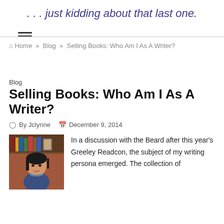. . . just kidding about that last one.
🏠 Home » Blog » Selling Books: Who Am I As A Writer?
Blog
Selling Books: Who Am I As A Writer?
By Jclynne   December 9, 2014
[Figure (photo): Portrait photo of a woman with dark hair, seated indoors with bookshelves visible in background]
In a discussion with the Beard after this year's Greeley Readcon, the subject of my writing persona emerged. The collection of